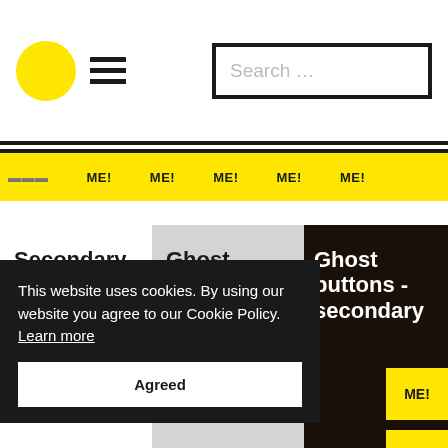[Figure (screenshot): Website header with yellow circle logo, hamburger menu icon, and search box with placeholder text 'Search ...']
[Figure (screenshot): Yellow banner strip with repeated text labels 'ME!' in dark text on yellow background]
Secondary buttons
Ghost buttons
Ghost buttons - secondary
This website uses cookies. By using our website you agree to our Cookie Policy. Learn more
Agreed